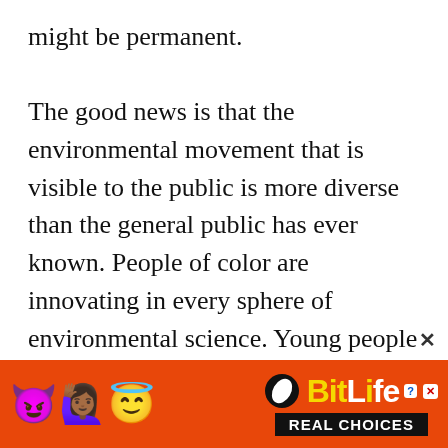might be permanent.

The good news is that the environmental movement that is visible to the public is more diverse than the general public has ever known. People of color are innovating in every sphere of environmental science. Young people are as well, and, of course, agitating loudly and consistently for more dramatic changes in policies. Yet, we are not satisfied. There is still a tremendous amount of work to do. Our lives and livelihoods are at stake. Everything we hold dear about nature is at stake. We are excited about new
[Figure (other): BitLife mobile game advertisement banner with orange background, emoji characters (devil, woman with arms raised, angel winking face), BitLife logo in yellow and white text with 'REAL CHOICES' subtitle in black bar, and a close (X) button]